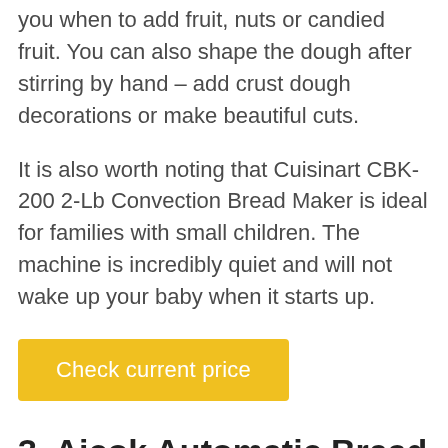you when to add fruit, nuts or candied fruit. You can also shape the dough after stirring by hand – add crust dough decorations or make beautiful cuts.
It is also worth noting that Cuisinart CBK-200 2-Lb Convection Bread Maker is ideal for families with small children. The machine is incredibly quiet and will not wake up your baby when it starts up.
Check current price
3. Aicok Automatic Bread Maker, 2LB Programmable Bread Machine